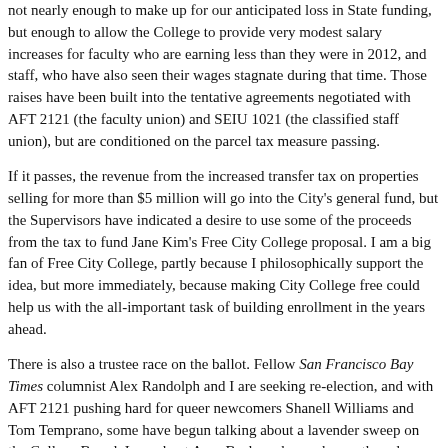not nearly enough to make up for our anticipated loss in State funding, but enough to allow the College to provide very modest salary increases for faculty who are earning less than they were in 2012, and staff, who have also seen their wages stagnate during that time. Those raises have been built into the tentative agreements negotiated with AFT 2121 (the faculty union) and SEIU 1021 (the classified staff union), but are conditioned on the parcel tax measure passing.
If it passes, the revenue from the increased transfer tax on properties selling for more than $5 million will go into the City's general fund, but the Supervisors have indicated a desire to use some of the proceeds from the tax to fund Jane Kim's Free City College proposal. I am a big fan of Free City College, partly because I philosophically support the idea, but more immediately, because making City College free could help us with the all-important task of building enrollment in the years ahead.
There is also a trustee race on the ballot. Fellow San Francisco Bay Times columnist Alex Randolph and I are seeking re-election, and with AFT 2121 pushing hard for queer newcomers Shanell Williams and Tom Temprano, some have begun talking about a lavender sweep on the College Board. Incumbent Amy Bacharach may have other plans; Amy has been a solid member of the Board and won't be going down without a fight, I'm sure. With five strong candidates running for four spots, it's anyone's guess how this contest will turn out. Whoever wins, the next Board is sure to be faced with some awfully tough decisions. Vote wisely, San Franciscans.
Rafael Mandelman is an attorney for the City of Oakland. He is also President of City College of San Francisco Board of Trustees.